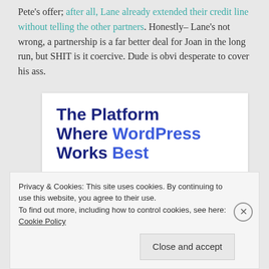Pete's offer; after all, Lane already extended their credit line without telling the other partners. Honestly– Lane's not wrong, a partnership is a far better deal for Joan in the long run, but SHIT is it coercive. Dude is obvi desperate to cover his ass.
[Figure (screenshot): Advertisement: white box with bold dark navy text 'The Platform Where WordPress Works Best' with 'WordPress' and 'Best' in blue, and a blue 'SEE PRICING' button partially visible]
Privacy & Cookies: This site uses cookies. By continuing to use this website, you agree to their use. To find out more, including how to control cookies, see here: Cookie Policy
Close and accept